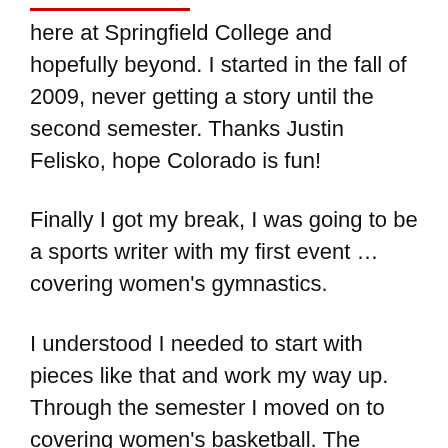here at Springfield College and hopefully beyond. I started in the fall of 2009, never getting a story until the second semester. Thanks Justin Felisko, hope Colorado is fun!
Finally I got my break, I was going to be a sports writer with my first event … covering women's gymnastics.
I understood I needed to start with pieces like that and work my way up. Through the semester I moved on to covering women's basketball. The following year I was the assistant sports editor, then sports editor for my junior season. After serving as the editor-in-chief during the fall